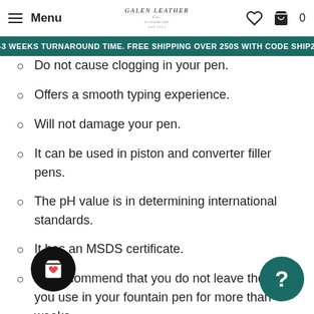Menu | Galen Leather Co. | [heart icon] | [cart icon] 0
2-3 WEEKS TURNAROUND TIME. FREE SHIPPING OVER 250S WITH CODE SHIP25
Do not cause clogging in your pen.
Offers a smooth typing experience.
Will not damage your pen.
It can be used in piston and converter filler pens.
The pH value is in determining international standards.
It has an MSDS certificate.
We recommend that you do not leave the ink you use in your fountain pen for more than 4 weeks.
DOMINANT INDUSTRY
Dominant Industry is a newly established ink company in South Korea. Dominant is the most important element providing...